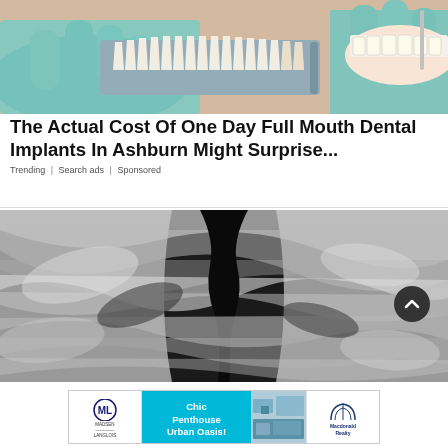[Figure (photo): Close-up photo of a dentist in teal gloves holding a tooth color shade guide next to an open mouth with braces, dental whitening/implant clinical setting]
The Actual Cost Of One Day Full Mouth Dental Implants In Ashburn Might Surprise...
Trending | Search ads | Sponsored
[Figure (photo): Abstract black and white swirling liquid or oil pattern photograph]
[Figure (photo): Advertisement banner: Madsen Langlois logo on left, 'Chic Penthouse Urban Oasis!' text in cyan center, interior photo, Macdonald Realty logo on right]